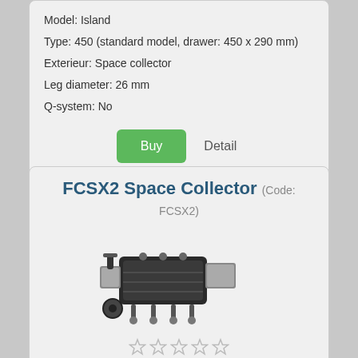Model: Island
Type: 450 (standard model, drawer: 450 x 290 mm)
Exterieur: Space collector
Leg diameter: 26 mm
Q-system: No
Buy   Detail
FCSX2 Space Collector (Code: FCSX2)
[Figure (photo): Product photo of FCSX2 Space Collector fishing chair/seatbox with wheels and side trays]
Comments (0)
Price: EUR 651,25
Incl. 21 % TAX plus shipping